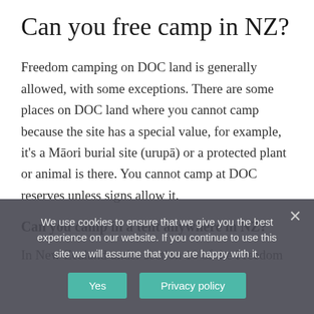Can you free camp in NZ?
Freedom camping on DOC land is generally allowed, with some exceptions. There are some places on DOC land where you cannot camp because the site has a special value, for example, it’s a Māori burial site (urupā) or a protected plant or animal is there. You cannot camp at DOC reserves unless signs allow it.
Can you camp in a tent anywhere in NZ?
In New Zealand under section 10 of the Freedom Camping Act 2011, you can freedom camp unless the local authority area timess camping is actively restricted or prohibited in that area. This means you can often Wild Camp on Department of
We use cookies to ensure that we give you the best experience on our website. If you continue to use this site we will assume that you are happy with it.